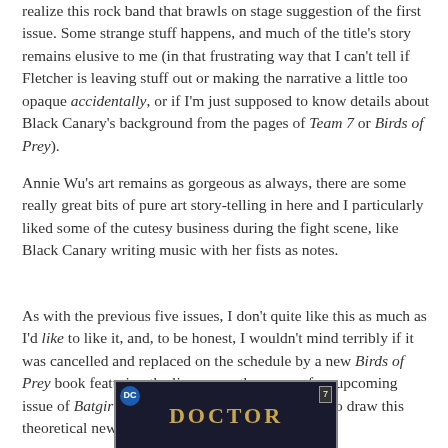realize this rock band that brawls on stage suggestion of the first issue. Some strange stuff happens, and much of the title's story remains elusive to me (in that frustrating way that I can't tell if Fletcher is leaving stuff out or making the narrative a little too opaque accidentally, or if I'm just supposed to know details about Black Canary's background from the pages of Team 7 or Birds of Prey).
Annie Wu's art remains as gorgeous as always, there are some really great bits of pure art story-telling in here and I particularly liked some of the cutesy business during the fight scene, like Black Canary writing music with her fists as notes.
As with the previous five issues, I don't quite like this as much as I'd like to like it, and, to be honest, I wouldn't mind terribly if it was cancelled and replaced on the schedule by a new Birds of Prey book featuring the line-up on the cover of an upcoming issue of Batgirl. That would certainly free Wu up to draw this theoretical new BOP book...!
[Figure (illustration): Partial view of a comic book cover showing the title 'DOCTOR' in large golden/yellow letters on a dark background, with a DC logo and issue number 7 badge visible.]